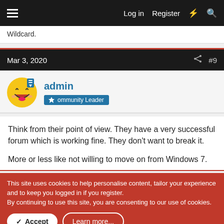Log in  Register
Wildcard.
Mar 3, 2020  #9
admin
Community Leader
Think from their point of view. They have a very successful forum which is working fine. They don't want to break it.

More or less like not willing to move on from Windows 7.
This site uses cookies to help personalise content, tailor your experience and to keep you logged in if you register.
By continuing to use this site, you are consenting to our use of cookies.

Accept  Learn more...